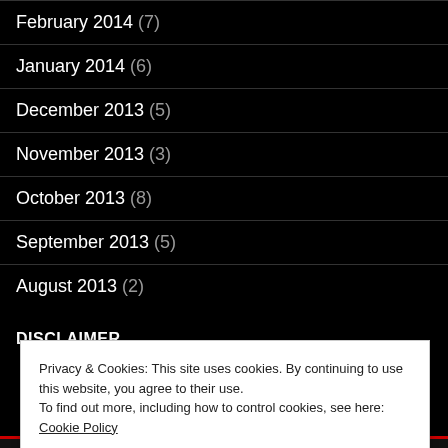February 2014 (7)
January 2014 (6)
December 2013 (5)
November 2013 (3)
October 2013 (8)
September 2013 (5)
August 2013 (2)
DISCLAIMER
Privacy & Cookies: This site uses cookies. By continuing to use this website, you agree to their use.
To find out more, including how to control cookies, see here: Cookie Policy
Close and accept